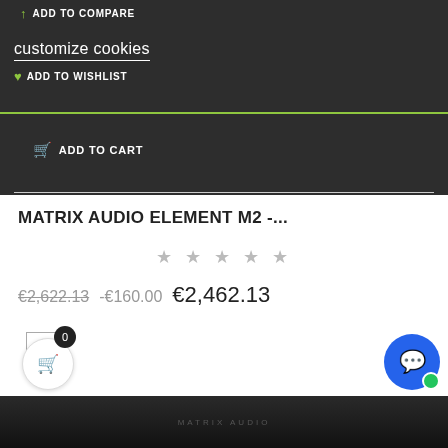[Figure (screenshot): Dark top navigation bar showing ADD TO COMPARE and ADD TO WISHLIST links with a cookie consent popup reading 'customize cookies']
customize cookies
ADD TO COMPARE
ADD TO WISHLIST
ADD TO CART
MATRIX AUDIO ELEMENT M2 -...
★ ★ ★ ★ ★
€2,622.13  -€160.00  €2,462.13
-6%
[Figure (photo): Bottom edge of a dark audio device (Matrix Audio Element M2) partially visible at the bottom of the page]